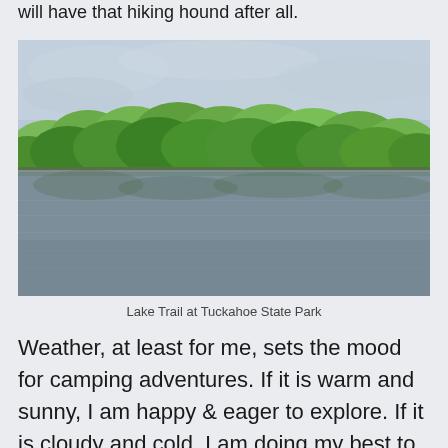will have that hiking hound after all.
[Figure (photo): A serene lake surrounded by dense green trees under an overcast sky, with the trees reflecting on the calm water surface. Lake Trail at Tuckahoe State Park.]
Lake Trail at Tuckahoe State Park
Weather, at least for me, sets the mood for camping adventures. If it is warm and sunny, I am happy & eager to explore. If it is cloudy and cold, I am doing my best to